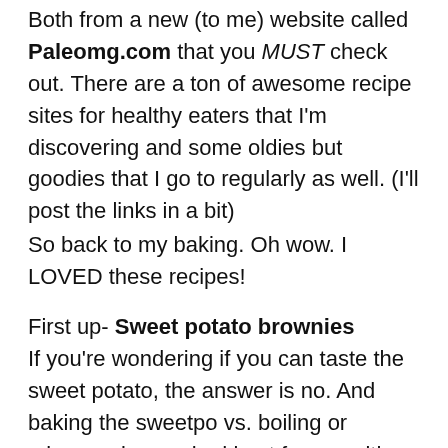Both from a new (to me) website called Paleomg.com that you MUST check out. There are a ton of awesome recipe sites for healthy eaters that I'm discovering and some oldies but goodies that I go to regularly as well. (I'll post the links in a bit)
So back to my baking. Oh wow. I LOVED these recipes!
First up- Sweet potato brownies If you're wondering if you can taste the sweet potato, the answer is no. And baking the sweetpo vs. boiling or microwaving worked best for me with just the right moisture level. I used a medium sized potato but I wouldn't stress about the size too much. :-)